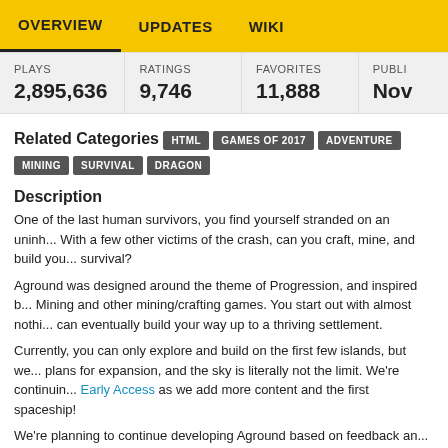OVERVIEW   UPDATES   WIKI
| PLAYS | RATINGS | FAVORITES | PUBLI... |
| --- | --- | --- | --- |
| 2,895,636 | 9,746 | 11,888 | Nov |
Related Categories
HTML
GAMES OF 2017
ADVENTURE
MINING
SURVIVAL
DRAGON
Description
One of the last human survivors, you find yourself stranded on an uninh... With a few other victims of the crash, can you craft, mine, and build you... survival?
Aground was designed around the theme of Progression, and inspired b... Mining and other mining/crafting games. You start out with almost nothi... can eventually build your way up to a thriving settlement.
Currently, you can only explore and build on the first few islands, but we... plans for expansion, and the sky is literally not the limit. We're continuin... Early Access as we add more content and the first spaceship!
We're planning to continue developing Aground based on feedback an... from players, so definitely send me a message or post in our subreddit